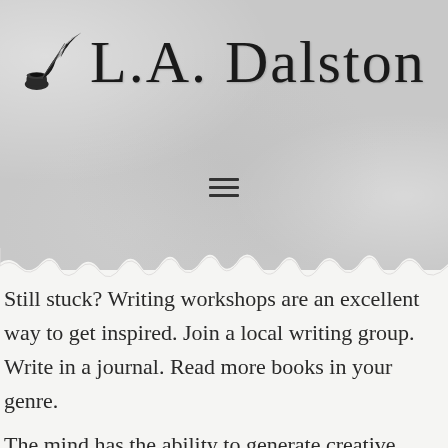L.A. Dalston
[Figure (illustration): Hamburger menu icon with three horizontal lines]
Still stuck? Writing workshops are an excellent way to get inspired. Join a local writing group. Write in a journal. Read more books in your genre.
The mind has the ability to generate creative ideas. It's in our programming. Everybody is inspired by something; art, music, a poem. An artist begins